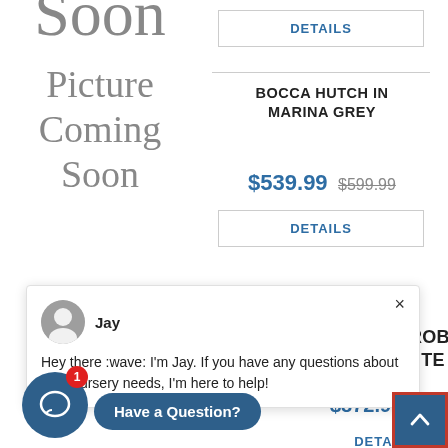[Figure (screenshot): Left column showing 'Picture Coming Soon' placeholder with large grey serif text reading 'Soon' (cropped at top), then 'Picture Coming Soon']
DETAILS
BOCCA HUTCH IN MARINA GREY
$539.99  $599.99
DETAILS
CHIFFEROBE HT WHITE
$872.99  $969.99
DETAILS
[Figure (screenshot): Chat popup with agent Jay's avatar, name 'Jay', and message 'Hey there :wave: I'm Jay. If you have any questions about your nursery needs, I'm here to help!']
Have a Question?